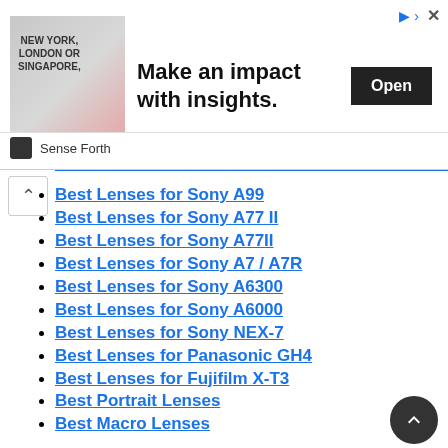[Figure (screenshot): Advertisement banner for 'Sense Forth' with image of man at conference, text 'Make an impact with insights.' and Open button]
Best Lenses for Sony A99
Best Lenses for Sony A77 II
Best Lenses for Sony A77II
Best Lenses for Sony A7 / A7R
Best Lenses for Sony A6300
Best Lenses for Sony A6000
Best Lenses for Sony NEX-7
Best Lenses for Panasonic GH4
Best Lenses for Fujifilm X-T3
Best Portrait Lenses
Best Macro Lenses